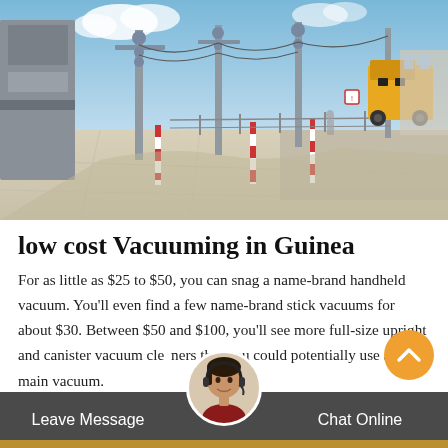[Figure (photo): Outdoor industrial electrical substation with metal poles, red-and-white striped barriers, concrete ground, yellow construction equipment in background, blue sky with clouds.]
low cost Vacuuming in Guinea
For as little as $25 to $50, you can snag a name-brand handheld vacuum. You'll even find a few name-brand stick vacuums for about $30. Between $50 and $100, you'll see more full-size upright and canister vacuum cleaners that you could potentially use as a main vacuum.
Leave Message
Chat Online